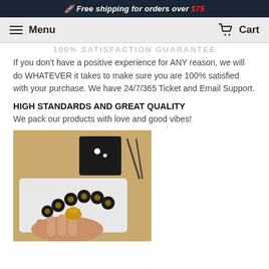🚀 Free shipping for orders over $75
Menu   Cart
100% SATISFACTION GUARANTEE
If you don't have a positive experience for ANY reason, we will do WHATEVER it takes to make sure you are 100% satisfied with your purchase. We have 24/7/365 Ticket and Email Support.
HIGH STANDARDS AND GREAT QUALITY
We pack our products with love and good vibes!
[Figure (photo): Hand holding a black and gold beaded bracelet with a pixiu charm, next to a black gift box and scissors on a light background.]